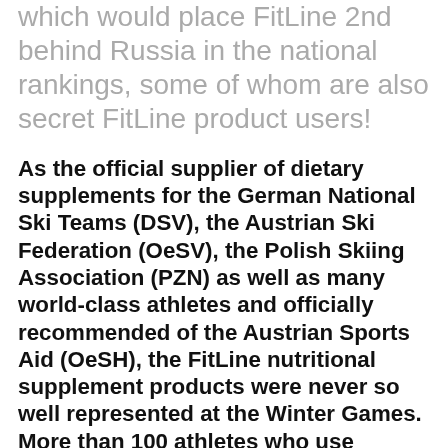which would place FitLine 2nd behind Russia in the national rankings, some of whom are also secret FitLine product users!
As the official supplier of dietary supplements for the German National Ski Teams (DSV), the Austrian Ski Federation (OeSV), the Polish Skiing Association (PZN) as well as many world-class athletes and officially recommended of the Austrian Sports Aid (OeSH), the FitLine nutritional supplement products were never so well represented at the Winter Games. More than 100 athletes who use FitLine products took part and the results were sensational. The unique track record of the athletes speaks for itself: a total of 33 medals in 33 disciplines for 46 athletes!
FitLine...